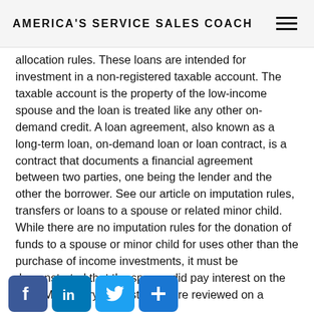AMERICA'S SERVICE SALES COACH
allocation rules. These loans are intended for investment in a non-registered taxable account. The taxable account is the property of the low-income spouse and the loan is treated like any other on-demand credit. A loan agreement, also known as a long-term loan, on-demand loan or loan contract, is a contract that documents a financial agreement between two parties, one being the lender and the other the borrower. See our article on imputation rules, transfers or loans to a spouse or related minor child. While there are no imputation rules for the donation of funds to a spouse or minor child for uses other than the purchase of income investments, it must be demonstrated that the spouse did pay interest on the loan. Mandatory interest rates are reviewed on a